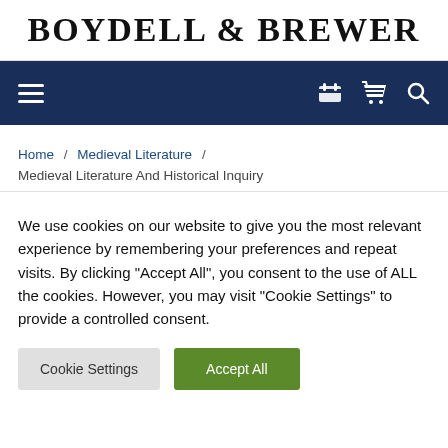BOYDELL & BREWER
[Figure (screenshot): Navigation bar with hamburger menu icon on the left and cart and search icons on the right, dark navy background]
Home / Medieval Literature / Medieval Literature And Historical Inquiry
We use cookies on our website to give you the most relevant experience by remembering your preferences and repeat visits. By clicking "Accept All", you consent to the use of ALL the cookies. However, you may visit "Cookie Settings" to provide a controlled consent.
Cookie Settings | Accept All